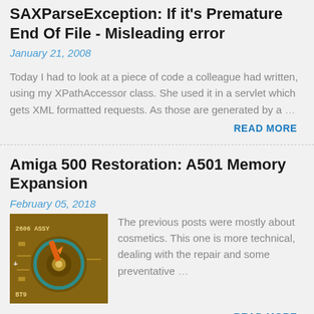SAXParseException: If it's Premature End Of File - Misleading error
January 21, 2008
Today I had to look at a piece of code a colleague had written, using my XPathAccessor class. She used it in a servlet which gets XML formatted requests. As those are generated by a …
READ MORE
Amiga 500 Restoration: A501 Memory Expansion
February 05, 2018
[Figure (photo): Close-up photo of a PCB (circuit board) showing solder joints, component markings '2606 ASSY', 'BT9', with blue circular trace and orange soldering iron tip]
The previous posts were mostly about cosmetics. This one is more technical, dealing with the repair and some preventative …
READ MORE